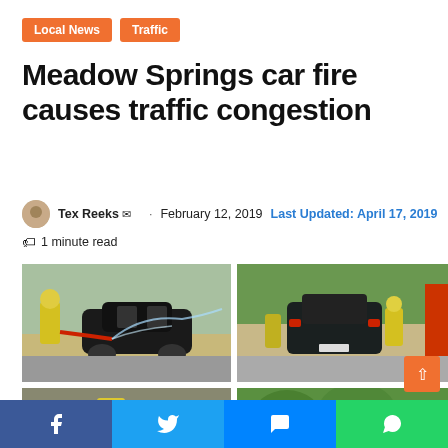Local News | Traffic
Meadow Springs car fire causes traffic congestion
Tex Reeks · February 12, 2019  Last Updated: April 17, 2019
1 minute read
[Figure (photo): Firefighter in yellow gear hosing down a burnt-out car on the road]
[Figure (photo): Firefighters attending a burned dark SUV on the road with trees in background]
[Figure (photo): Close-up of firefighters in yellow high-vis gear at scene]
[Figure (photo): Outdoor scene with trees and orange scroll-to-top button overlay]